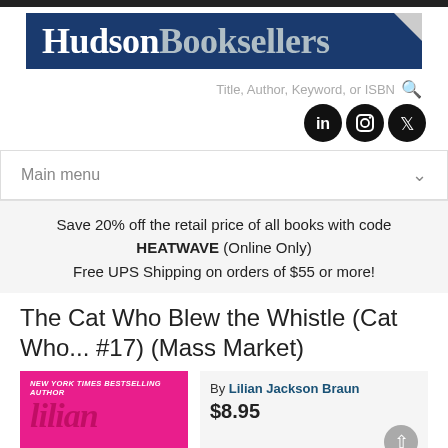[Figure (logo): Hudson Booksellers logo: dark blue banner with white serif text 'Hudson Booksellers' and a folded corner]
Title, Author, Keyword, or ISBN
[Figure (infographic): Three black circular social media icons: LinkedIn, Instagram, Twitter]
Main menu
Save 20% off the retail price of all books with code HEATWAVE (Online Only)
Free UPS Shipping on orders of $55 or more!
The Cat Who Blew the Whistle (Cat Who... #17) (Mass Market)
[Figure (photo): Pink/magenta book cover with text 'NEW YORK TIMES BESTSELLING AUTHOR' and partial author name]
By Lilian Jackson Braun
$8.95